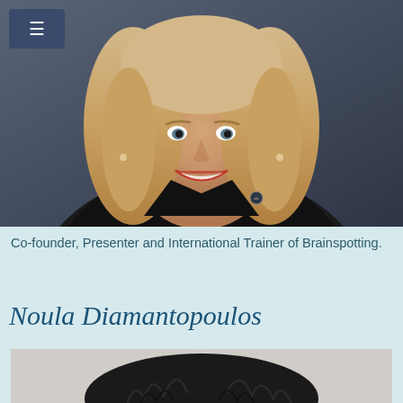[Figure (photo): Professional headshot of a smiling middle-aged woman with blonde hair wearing a black jacket, against a dark blue-grey background. A hamburger menu button is visible in the top-left corner.]
Co-founder, Presenter and International Trainer of Brainspotting.
Noula Diamantopoulos
[Figure (photo): Partial photo of a person with curly dark hair, cropped at the bottom of the page, black and white or low-saturation image.]